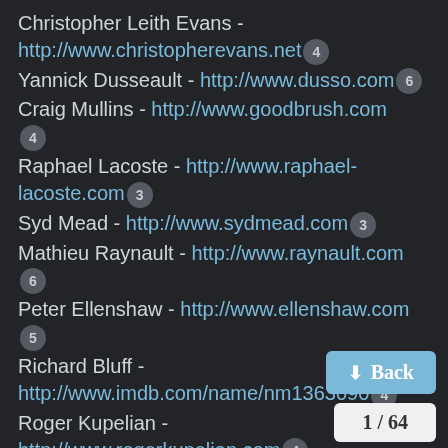Christopher Leith Evans - http://www.christopherevans.net 4
Yannick Dusseault - http://www.dusso.com 6
Craig Mullins - http://www.goodbrush.com 4
Raphael Lacoste - http://www.raphael-lacoste.com 3
Syd Mead - http://www.sydmead.com 3
Mathieu Raynault - http://www.raynault.com 6
Peter Ellenshaw - http://www.ellenshaw.com 5
Richard Bluff - http://www.imdb.com/name/nm1363090 4
Roger Kupelian - http://www.rogerkupelian.com 4
Mark Sullivan - http://www.digi...